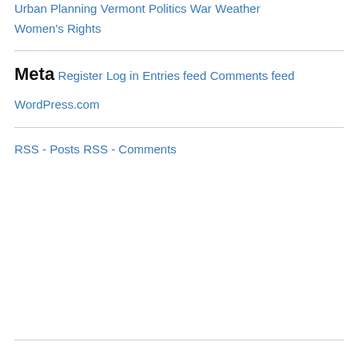Urban Planning
Vermont Politics
War
Weather
Women's Rights
Meta
Register
Log in
Entries feed
Comments feed
WordPress.com
RSS - Posts
RSS - Comments